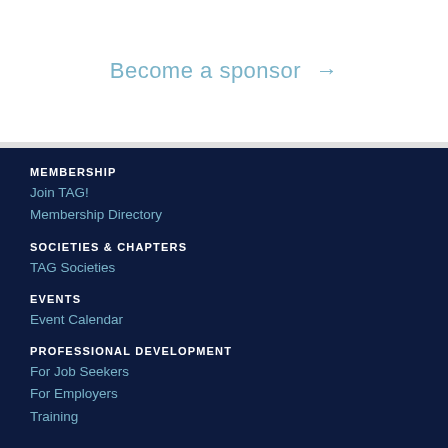Become a sponsor →
MEMBERSHIP
Join TAG!
Membership Directory
SOCIETIES & CHAPTERS
TAG Societies
EVENTS
Event Calendar
PROFESSIONAL DEVELOPMENT
For Job Seekers
For Employers
Training